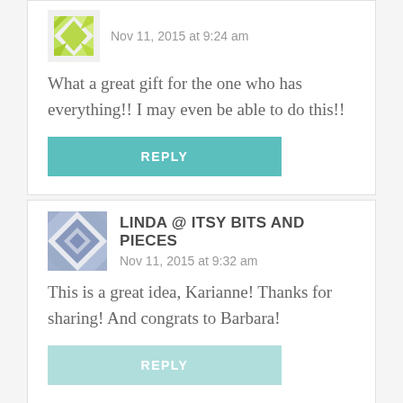[Figure (illustration): Green geometric avatar icon for commenter]
Nov 11, 2015 at 9:24 am
What a great gift for the one who has everything!! I may even be able to do this!!
REPLY
[Figure (illustration): Blue/purple geometric quilt-pattern avatar icon for Linda @ Itsy Bits and Pieces]
LINDA @ ITSY BITS AND PIECES
Nov 11, 2015 at 9:32 am
This is a great idea, Karianne! Thanks for sharing! And congrats to Barbara!
REPLY